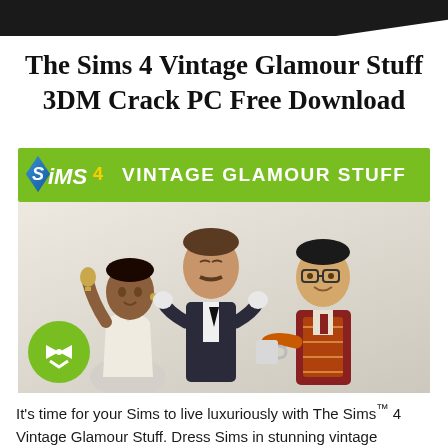The Sims 4 Vintage Glamour Stuff 3DM Crack PC Free Download
[Figure (illustration): The Sims 4 Vintage Glamour Stuff game cover image showing three Sim characters (a woman in white holding a bell, a man in a suit clapping, and a man in a patterned vest holding a coffee mug) beneath a green banner with the Sims 4 logo and text 'VINTAGE GLAMOUR STUFF'. A green circular badge with a bow-tie icon is in the bottom left.]
It's time for your Sims to live luxuriously with The Sims™ 4 Vintage Glamour Stuff. Dress Sims in stunning vintage fashions